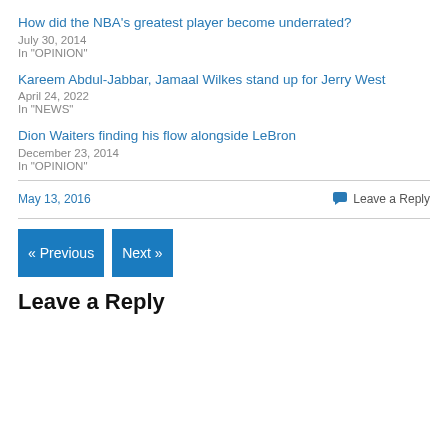How did the NBA's greatest player become underrated?
July 30, 2014
In "OPINION"
Kareem Abdul-Jabbar, Jamaal Wilkes stand up for Jerry West
April 24, 2022
In "NEWS"
Dion Waiters finding his flow alongside LeBron
December 23, 2014
In "OPINION"
May 13, 2016
Leave a Reply
« Previous
Next »
Leave a Reply